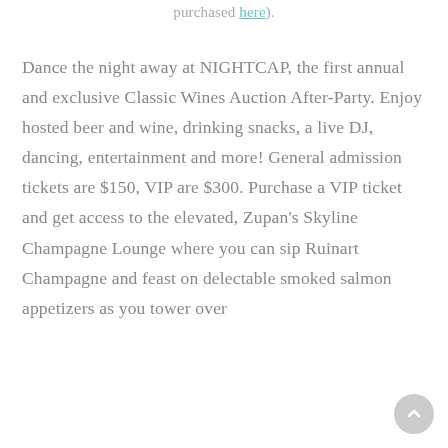purchased here).
Dance the night away at NIGHTCAP, the first annual and exclusive Classic Wines Auction After-Party. Enjoy hosted beer and wine, drinking snacks, a live DJ, dancing, entertainment and more! General admission tickets are $150, VIP are $300. Purchase a VIP ticket and get access to the elevated, Zupan's Skyline Champagne Lounge where you can sip Ruinart Champagne and feast on delectable smoked salmon appetizers as you tower over